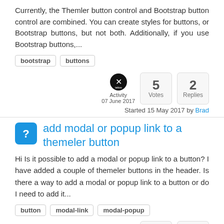Currently, the Themler button control and Bootstrap button control are combined. You can create styles for buttons, or Bootstrap buttons, but not both. Additionally, if you use Bootstrap buttons,...
bootstrap
buttons
Activity 07 June 2017
Started 15 May 2017 by Brad
5 Votes  2 Replies
add modal or popup link to a themeler button
Hi Is it possible to add a modal or popup link to a button? I have added a couple of themeler buttons in the header. Is there a way to add a modal or popup link to a button or do I need to add it...
button
modal-link
modal-popup
Activity
2 Votes  31 Replies